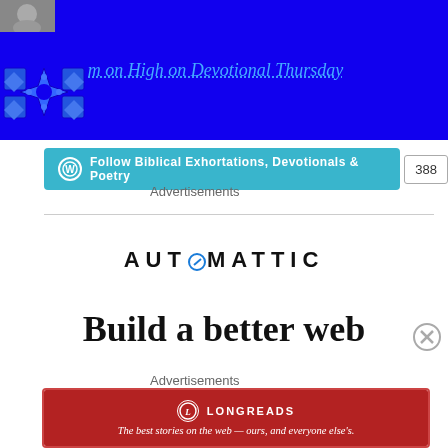[Figure (screenshot): Blue header banner for 'Manna from on High on Devotional Thursday' blog with blue geometric logo and small profile photo]
[Figure (screenshot): WordPress Follow button for 'Biblical Exhortations, Devotionals & Poetry' with follower count 388]
Advertisements
[Figure (logo): Automattic logo with circular compass icon replacing the O]
Build a better web
Advertisements
[Figure (screenshot): Longreads ad banner: 'The best stories on the web — ours, and everyone else's.']